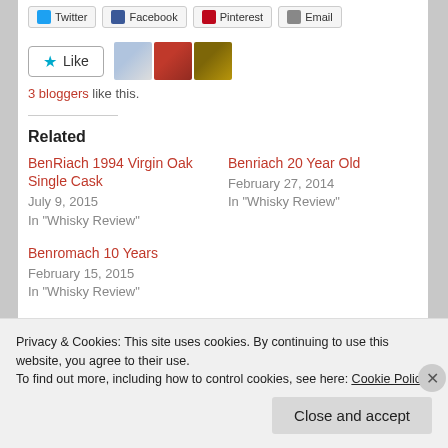[Figure (screenshot): Social share buttons: Twitter, Facebook, Pinterest, Email]
[Figure (screenshot): Like button with star icon and three blogger avatars]
3 bloggers like this.
Related
BenRiach 1994 Virgin Oak Single Cask
July 9, 2015
In "Whisky Review"
Benriach 20 Year Old
February 27, 2014
In "Whisky Review"
Benromach 10 Years
February 15, 2015
In "Whisky Review"
Privacy & Cookies: This site uses cookies. By continuing to use this website, you agree to their use.
To find out more, including how to control cookies, see here: Cookie Policy
Close and accept